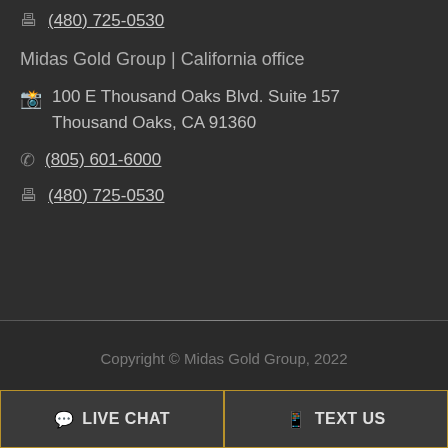(480) 725-0530
Midas Gold Group | California office
100 E Thousand Oaks Blvd. Suite 157 Thousand Oaks, CA 91360
(805) 601-6000
(480) 725-0530
Copyright © Midas Gold Group, 2022
LIVE CHAT
TEXT US